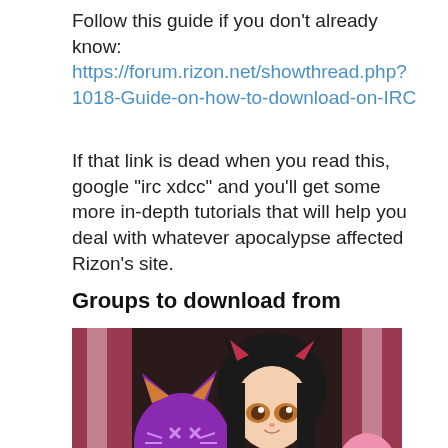Follow this guide if you don't already know: https://forum.rizon.net/showthread.php?1018-Guide-on-how-to-download-on-IRC
If that link is dead when you read this, google "irc xdcc" and you'll get some more in-depth tutorials that will help you deal with whatever apocalypse affected Rizon's site.
Groups to download from
[Figure (illustration): Anime illustration showing a girl with cat ears and black hair, alongside a purple cat mascot character. Background has pink/red curtains. There is yellow caution tape at the bottom.]